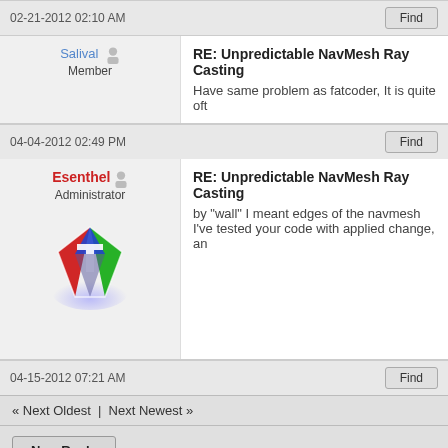02-21-2012 02:10 AM
Salival — Member
RE: Unpredictable NavMesh Ray Casting
Have same problem as fatcoder, It is quite oft
04-04-2012 02:49 PM
Esenthel — Administrator
RE: Unpredictable NavMesh Ray Casting
by "wall" I meant edges of the navmesh
I've tested your code with applied change, an
[Figure (logo): Esenthel diamond logo — red/green/blue faceted gem shape with white T]
04-15-2012 07:21 AM
« Next Oldest | Next Newest »
New Reply
Subscribe to this thread